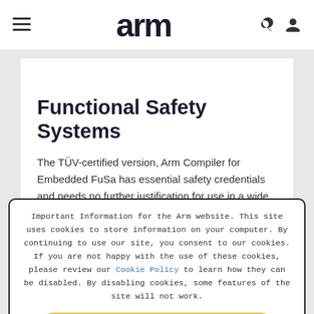arm
Functional Safety Systems
The TÜV-certified version, Arm Compiler for Embedded FuSa has essential safety credentials and needs no further justification for use in a wide range of safety-related
Important Information for the Arm website. This site uses cookies to store information on your computer. By continuing to use our site, you consent to our cookies. If you are not happy with the use of these cookies, please review our Cookie Policy to learn how they can be disabled. By disabling cookies, some features of the site will not work.
Accept and hide this message ✕